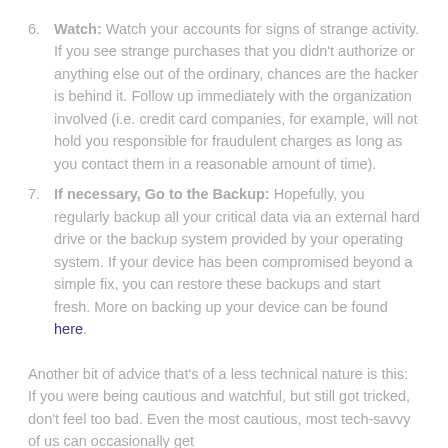6. Watch: Watch your accounts for signs of strange activity. If you see strange purchases that you didn't authorize or anything else out of the ordinary, chances are the hacker is behind it. Follow up immediately with the organization involved (i.e. credit card companies, for example, will not hold you responsible for fraudulent charges as long as you contact them in a reasonable amount of time).
7. If necessary, Go to the Backup: Hopefully, you regularly backup all your critical data via an external hard drive or the backup system provided by your operating system. If your device has been compromised beyond a simple fix, you can restore these backups and start fresh. More on backing up your device can be found here.
Another bit of advice that’s of a less technical nature is this: If you were being cautious and watchful, but still got tricked, don’t feel too bad. Even the most cautious, most tech-savvy of us can occasionally get